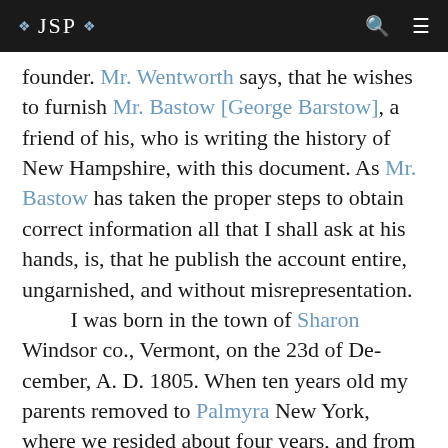❖ JSP ❖
founder. Mr. Wentworth says, that he wishes to furnish Mr. Bastow [George Barstow], a friend of his, who is writing the history of New Hampshire, with this document. As Mr. Bastow has taken the proper steps to obtain correct information all that I shall ask at his hands, is, that he publish the account entire, ungarnished, and without misrepresentation.
	I was born in the town of Sharon Windsor co., Vermont, on the 23d of December, A. D. 1805. When ten years old my parents removed to Palmyra New York, where we resided about four years, and from thence we removed to the town of Manchester.
	My father was a farmer and taught me the art